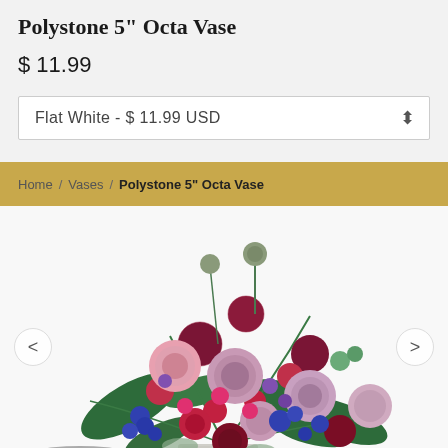Polystone 5" Octa Vase
$ 11.99
Flat White - $ 11.99 USD
Home / Vases / Polystone 5" Octa Vase
[Figure (photo): A lush floral arrangement featuring pink roses, deep burgundy ranunculus, blue delphinium, red flowers, and greenery displayed in a white vase against a light background. A dark gray object is partially visible at the bottom left.]